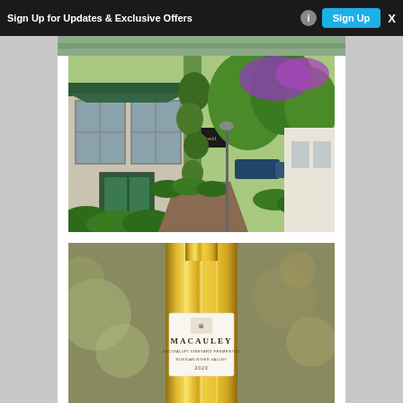[Figure (screenshot): Black banner bar with text 'Sign Up for Updates & Exclusive Offers', an info icon, a cyan 'Sign Up' button, and an 'X' close button at the right.]
[Figure (photo): Outdoor photo of a storefront or wine tasting room with green awnings, large windows, lush green hedges, climbing vines, purple flowering bougainvillea, and a sidewalk path with trees.]
[Figure (photo): Close-up photo of a wine bottle with a gold/metallic label reading 'MACAULEY' with additional text 'BACIGALUPI VINEYARD FERMENTED' and 'RUSSIAN RIVER VALLEY 2020'. The bottle has a reflective golden foil capsule.]